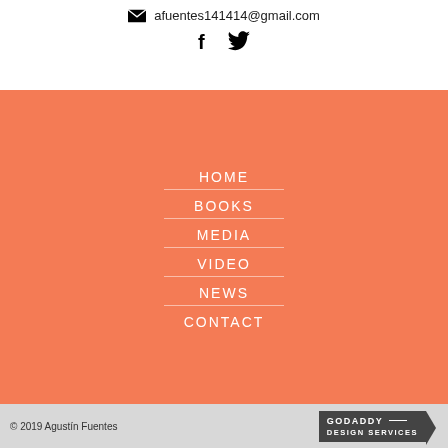afuentes141414@gmail.com
[Figure (illustration): Facebook and Twitter social media icons in black]
HOME
BOOKS
MEDIA
VIDEO
NEWS
CONTACT
© 2019 Agustín Fuentes
[Figure (logo): GoDaddy Design Services badge/logo]